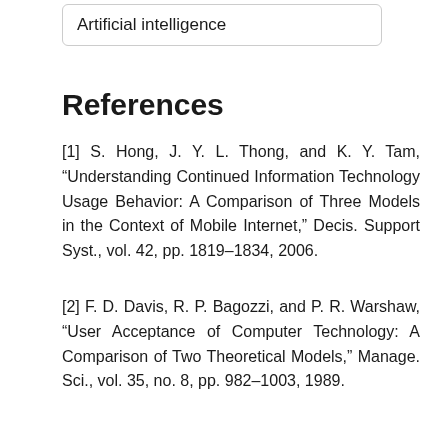Artificial intelligence
References
[1] S. Hong, J. Y. L. Thong, and K. Y. Tam, “Understanding Continued Information Technology Usage Behavior: A Comparison of Three Models in the Context of Mobile Internet,” Decis. Support Syst., vol. 42, pp. 1819–1834, 2006.
[2] F. D. Davis, R. P. Bagozzi, and P. R. Warshaw, “User Acceptance of Computer Technology: A Comparison of Two Theoretical Models,” Manage. Sci., vol. 35, no. 8, pp. 982–1003, 1989.